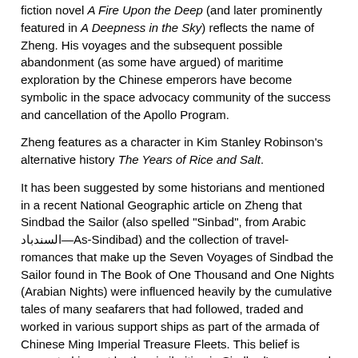fiction novel A Fire Upon the Deep (and later prominently featured in A Deepness in the Sky) reflects the name of Zheng. His voyages and the subsequent possible abandonment (as some have argued) of maritime exploration by the Chinese emperors have become symbolic in the space advocacy community of the success and cancellation of the Apollo Program.
Zheng features as a character in Kim Stanley Robinson's alternative history The Years of Rice and Salt.
It has been suggested by some historians and mentioned in a recent National Geographic article on Zheng that Sindbad the Sailor (also spelled "Sinbad", from Arabic السندباد—As-Sindibad) and the collection of travel-romances that make up the Seven Voyages of Sindbad the Sailor found in The Book of One Thousand and One Nights (Arabian Nights) were influenced heavily by the cumulative tales of many seafarers that had followed, traded and worked in various support ships as part of the armada of Chinese Ming Imperial Treasure Fleets. This belief is supported in part by the similarities in Sindbad's name and the various iterations of Zheng in Arabic and Mandarin (pinyin: Mǎ Sānbǎo;Cantonese: Mah Senbau; Arabic name: Hajji Mahmud Shams) along with the similarities in the number (seven) and general locations of voyages between Sindbad and Zheng.
The "Zheng He map"